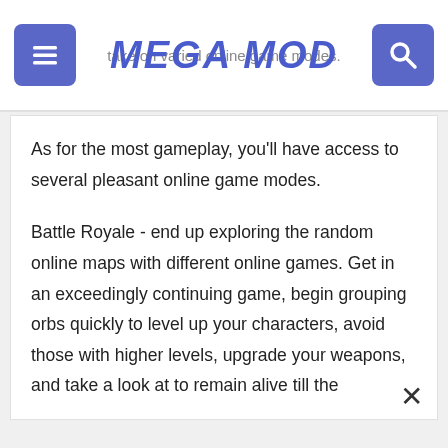take on varied online game modes. MEGA MOD
As for the most gameplay, you'll have access to several pleasant online game modes.
Battle Royale - end up exploring the random online maps with different online games. Get in an exceedingly continuing game, begin grouping orbs quickly to level up your characters, avoid those with higher levels, upgrade your weapons, and take a look at to remain alive till the